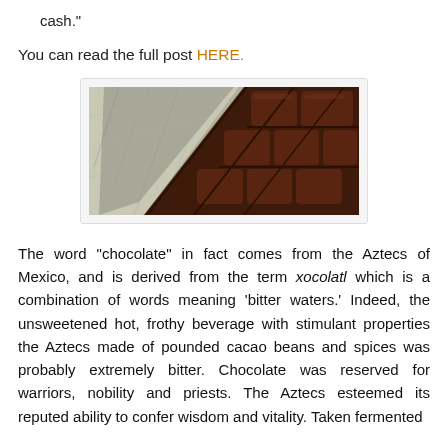cash."
You can read the full post HERE.
[Figure (photo): A bar of dark chocolate partially unwrapped from silver foil packaging, showing the segmented squares of the chocolate bar.]
The word "chocolate" in fact comes from the Aztecs of Mexico, and is derived from the term xocolatl which is a combination of words meaning 'bitter waters.' Indeed, the unsweetened hot, frothy beverage with stimulant properties the Aztecs made of pounded cacao beans and spices was probably extremely bitter. Chocolate was reserved for warriors, nobility and priests. The Aztecs esteemed its reputed ability to confer wisdom and vitality. Taken fermented